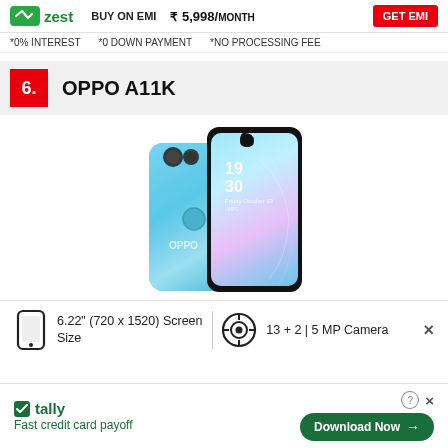Zest | BUY ON EMI | ₹ 5,998/ MONTH | GET EMI
*0% INTEREST   *0 DOWN PAYMENT   *NO PROCESSING FEE
6. OPPO A11K
[Figure (photo): OPPO A11K smartphone shown from front and back in blue color]
6.22" (720 x 1520) Screen Size
13 + 2 | 5 MP Camera
tally - Fast credit card payoff | Download Now →